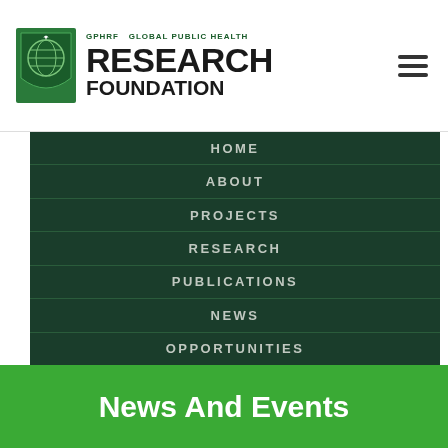[Figure (logo): GPHRF Global Public Health Research Foundation logo with shield emblem]
HOME
ABOUT
PROJECTS
RESEARCH
PUBLICATIONS
NEWS
OPPORTUNITIES
News And Events